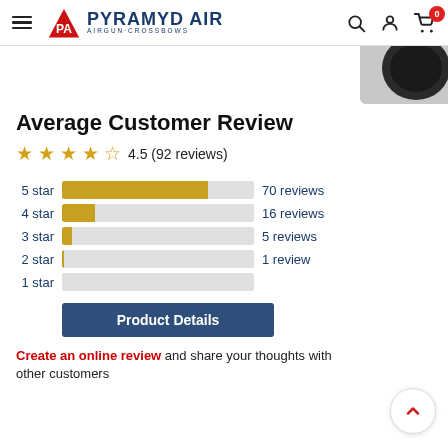Pyramyd Air - Airgun + Crossbows
[Figure (photo): Dark round product image in upper right corner]
Average Customer Review
★★★★½ 4.5 (92 reviews)
[Figure (bar-chart): Star rating breakdown]
Product Details
Create an online review and share your thoughts with other customers